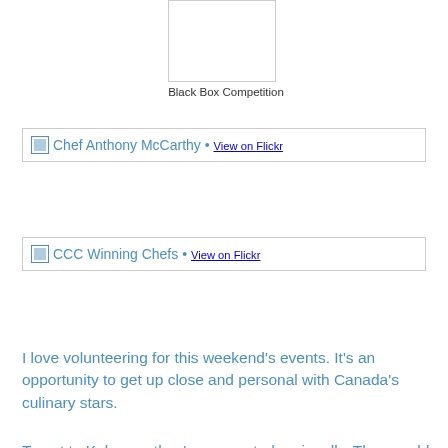[Figure (photo): Black Box Competition image placeholder with border]
Black Box Competition
[Figure (photo): Chef Anthony McCarthy • View on Flickr link block with broken image icon]
[Figure (photo): CCC Winning Chefs • View on Flickr link block with broken image icon]
I love volunteering for this weekend's events.  It's an opportunity to get up close and personal with Canada's culinary stars.
To get to Kelowna, they've competed regionally.  These gold medal winners from across Canada meet head to head in Kelowna- this year (2013), February 8 and 9, for the ultimate National competition.